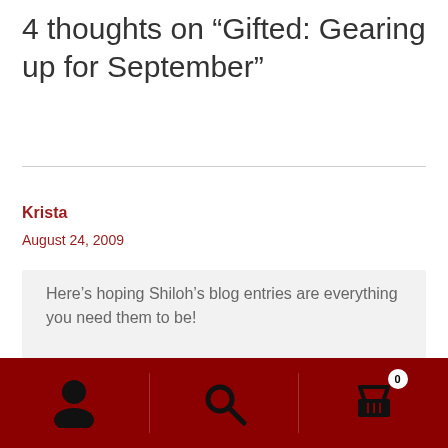4 thoughts on “Gifted: Gearing up for September”
Krista
August 24, 2009
Here’s hoping Shiloh’s blog entries are everything you need them to be!
Reply ↩